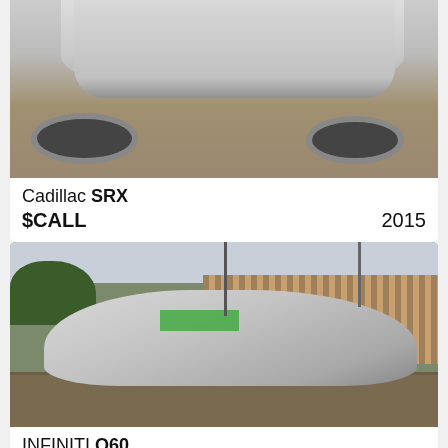[Figure (photo): Partial top view of a silver Cadillac SRX on gravel, showing the front hood and windshield area from above]
Cadillac SRX
$CALL  2015
[Figure (photo): Silver Infiniti Q60 coupe parked on gravel in front of a wooden fence, with trees and power lines visible in background]
INFINITI Q60
$21,770  2014